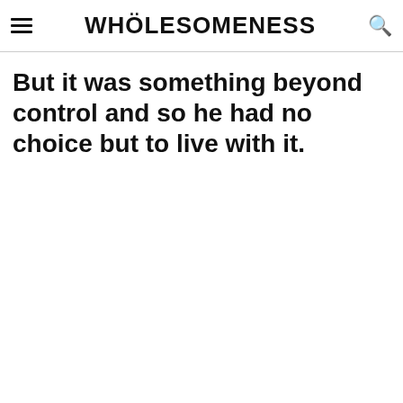WHÖLESOMENESS
But it was something beyond control and so he had no choice but to live with it.